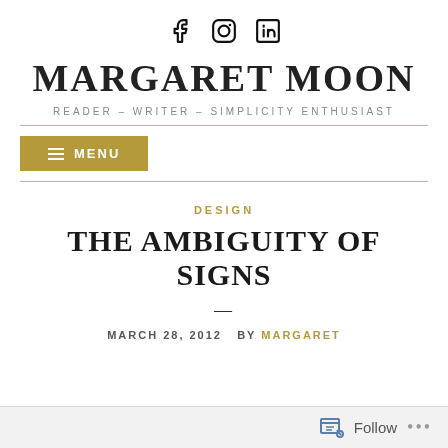[Figure (infographic): Social media icons: Facebook, Instagram, LinkedIn]
MARGARET MOON
READER – WRITER – SIMPLICITY ENTHUSIAST
MENU
DESIGN
THE AMBIGUITY OF SIGNS
MARCH 28, 2012  BY MARGARET
Follow  ...